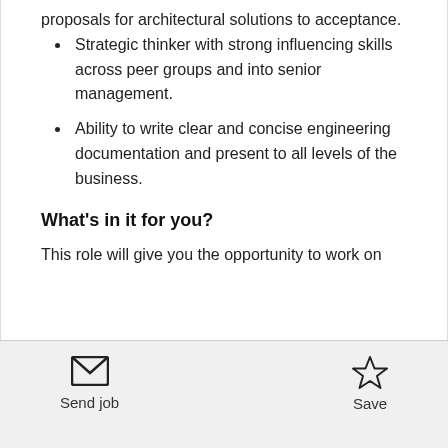proposals for architectural solutions to acceptance.
Strategic thinker with strong influencing skills across peer groups and into senior management.
Ability to write clear and concise engineering documentation and present to all levels of the business.
What's in it for you?
This role will give you the opportunity to work on
[Figure (other): Send job envelope icon button and Save star icon button in footer bar]